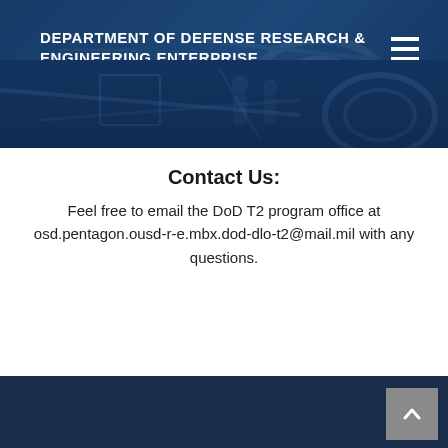DEPARTMENT OF DEFENSE RESEARCH & ENGINEERING ENTERPRISE
[Figure (photo): Dark blue tinted banner with background image of industrial/engineering equipment, partially visible]
Contact Us:
Feel free to email the DoD T2 program office at osd.pentagon.ousd-r-e.mbx.dod-dlo-t2@mail.mil with any questions.